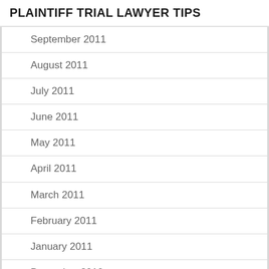PLAINTIFF TRIAL LAWYER TIPS
September 2011
August 2011
July 2011
June 2011
May 2011
April 2011
March 2011
February 2011
January 2011
December 2010